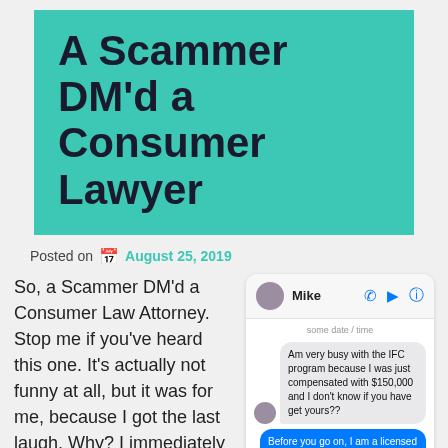A Scammer DM'd a Consumer Lawyer
Posted on August 25, 2019
So, a Scammer DM'd a Consumer Law Attorney. Stop me if you've heard this one. It's actually not funny at all, but it was for me, because I got the last laugh. Why? I immediately reported the attempted scammer to the Federal Trade Commission. I'm not
[Figure (screenshot): A smartphone chat screenshot showing a conversation with 'Mike'. The scammer sends messages about an IFC program and $150,000 compensation. The recipient replies identifying themselves as a licensed consumer law attorney who will report scams to the CFPB and FTC.]